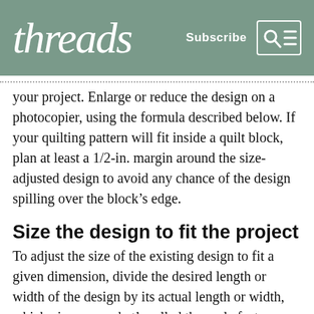threads   Subscribe
your project. Enlarge or reduce the design on a photocopier, using the formula described below. If your quilting pattern will fit inside a quilt block, plan at least a 1/2-in. margin around the size-adjusted design to avoid any chance of the design spilling over the block’s edge.
Size the design to fit the project
To adjust the size of the existing design to fit a given dimension, divide the desired length or width of the design by its actual length or width, which gives you what’s called the scale factor. Since photocopiers increase and decrease in terms of percentage, multiply the scale factor by 100 to arrive at the